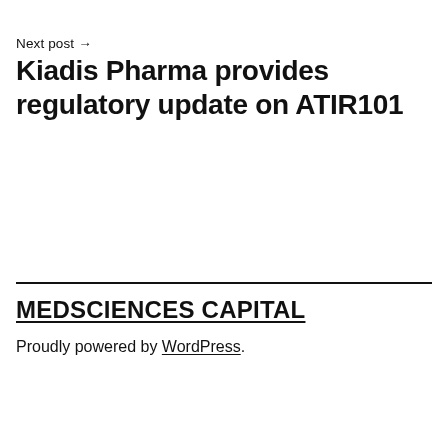Next post →
Kiadis Pharma provides regulatory update on ATIR101
MEDSCIENCES CAPITAL
Proudly powered by WordPress.